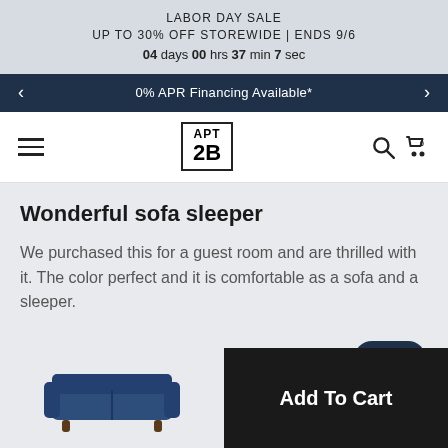LABOR DAY SALE
UP TO 30% OFF STOREWIDE | ENDS 9/6
04 days 00 hrs 37 min 7 sec
0% APR Financing Available*
[Figure (logo): APT 2B logo in a black bordered box]
Wonderful sofa sleeper
We purchased this for a guest room and are thrilled with it. The color perfect and it is comfortable as a sofa and a sleeper.
[Figure (photo): Dark navy blue sofa sleeper product thumbnail image]
Add To Cart